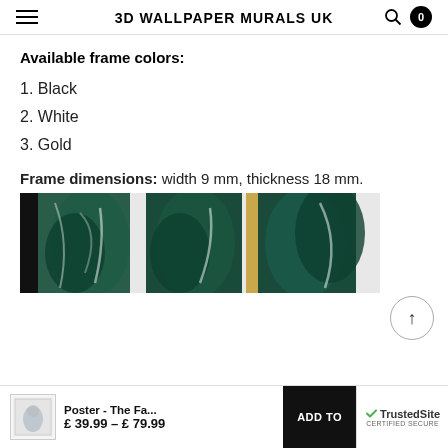3D WALLPAPER MURALS UK
Available frame colors:
1. Black
2. White
3. Gold
Frame dimensions: width 9 mm, thickness 18 mm.
[Figure (photo): Three framed poster samples showing black, white and gold frame colors with tropical leaf artwork]
Poster - The Fa... £39.99 – £79.99
ADD TO
[Figure (logo): TrustedSite certified secure badge]